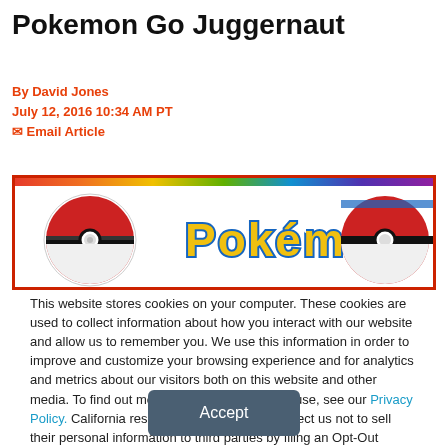Pokemon Go Juggernaut
By David Jones
July 12, 2016 10:34 AM PT
✉ Email Article
[Figure (photo): Banner image with a rainbow-colored top bar and white background showing Pokemon Pokeballs on the left and right, and the Pokemon logo in the center.]
This website stores cookies on your computer. These cookies are used to collect information about how you interact with our website and allow us to remember you. We use this information in order to improve and customize your browsing experience and for analytics and metrics about our visitors both on this website and other media. To find out more about the cookies we use, see our Privacy Policy. California residents have the right to direct us not to sell their personal information to third parties by filing an Opt-Out Request: Do Not Sell My Personal Info.
Accept